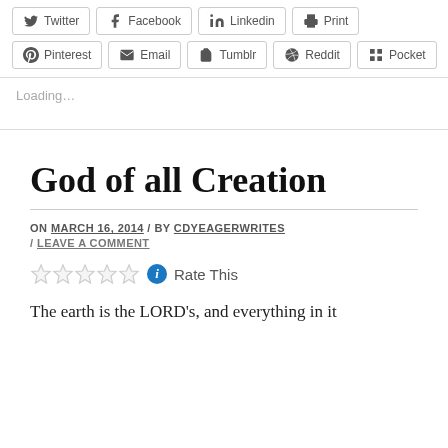[Figure (screenshot): Social share buttons row: Pinterest, Email, Tumblr, Reddit, Pocket]
Loading...
God of all Creation
ON MARCH 16, 2014 / BY CDYEAGERWRITES / LEAVE A COMMENT
Rate This
The earth is the LORD's, and everything in it